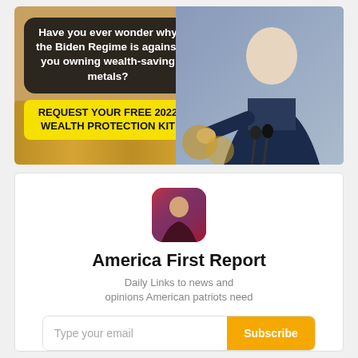[Figure (infographic): Advertisement banner with dark speech bubble asking 'Have you ever wonder why the Biden Regime is against you owning wealth-saving metals?' and a yellow CTA button 'REQUEST YOUR FREE 2022 WEALTH PROTECTION KIT', with a photo of a man in a suit pointing at the viewer, and gold coins in the background.]
[Figure (photo): Circular avatar photo of a person with an American flag background, used as a newsletter profile icon.]
America First Report
Daily Links to news and opinions American patriots need
Type your email
Subscribe